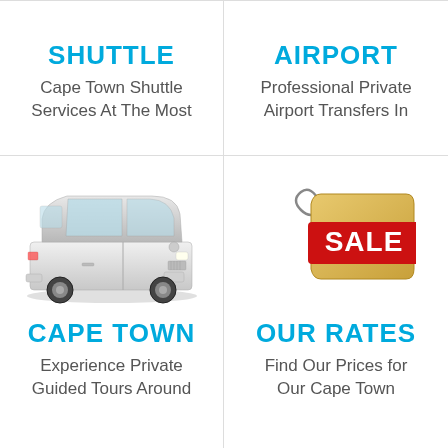SHUTTLE
Cape Town Shuttle Services At The Most
AIRPORT
Professional Private Airport Transfers In
[Figure (photo): White VW Caravelle/Transporter minivan shuttle vehicle]
[Figure (illustration): SALE price tag with red label and string]
CAPE TOWN
Experience Private Guided Tours Around
OUR RATES
Find Our Prices for Our Cape Town
[Figure (photo): Black smartphone (iPhone style) at bottom of page]